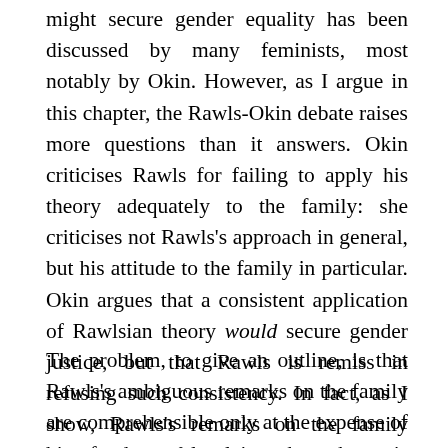might secure gender equality has been discussed by many feminists, most notably by Okin. However, as I argue in this chapter, the Rawls-Okin debate raises more questions than it answers. Okin criticises Rawls for failing to apply his theory adequately to the family: she criticises not Rawls's approach in general, but his attitude to the family in particular. Okin argues that a consistent application of Rawlsian theory would secure gender justice, but that Rawls is remiss in refusing such consistency. In fact, as I show, Rawls's remarks on the family reveal a more fundamental problem with Rawlsian theory than Okin allows. It is not that Rawls fails to apply his theory correctly to the family, but rather that the specific case of the family illustrates deep-seated difficulties with Rawlsian justice as a whole.
The problem, to give an outline, is that Rawls's ambiguous remarks on the family are comprehensible only at the expense of his fundamental claim that there is something